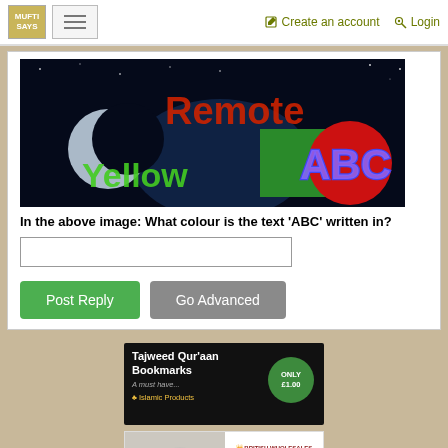MUFTI SAYS | Create an account | Login
[Figure (other): CAPTCHA image with dark background showing text: 'Remote' in red, 'Yellow' in green, 'ABC' in blue/purple, with a crescent moon shape, a green square, and a red circle]
In the above image: What colour is the text 'ABC' written in?
[Input field for CAPTCHA answer]
Post Reply | Go Advanced
[Figure (other): Advertisement for Tajweed Qur'aan Bookmarks - A must have... Islamic Products ONLY £1.00]
[Figure (other): Advertisement for British Wholesales - Wholesale Bedding, Towels & Textiles with image of folded towels/textiles]